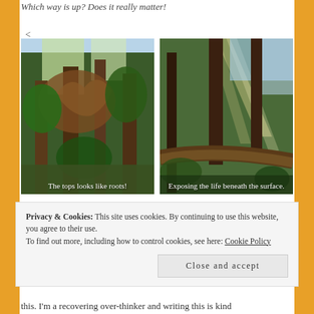Which way is up? Does it really matter!
<
[Figure (photo): Forest photo showing tree tops that look like roots, with green foliage and tall trees. Caption: The tops looks like roots!]
[Figure (photo): Forest photo with sunbeams streaming through trees and a fallen log. Caption: Exposing the life beneath the surface.]
Privacy & Cookies: This site uses cookies. By continuing to use this website, you agree to their use.
To find out more, including how to control cookies, see here: Cookie Policy
Close and accept
this. I'm a recovering over-thinker and writing this is kind